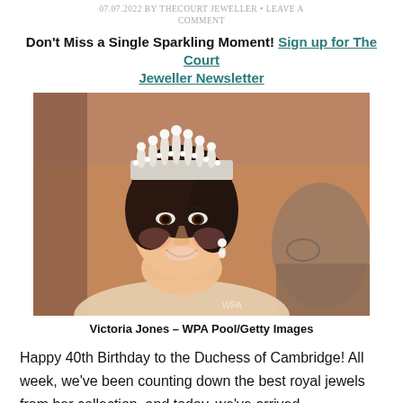07.07.2022 BY THECOURT JEWELLER • LEAVE A COMMENT
Don't Miss a Single Sparkling Moment! Sign up for The Court Jeweller Newsletter
[Figure (photo): A woman wearing a pearl and diamond tiara, smiling at a formal event. Photo credit watermark present.]
Victoria Jones – WPA Pool/Getty Images
Happy 40th Birthday to the Duchess of Cambridge! All week, we've been counting down the best royal jewels from her collection, and today, we've arrived